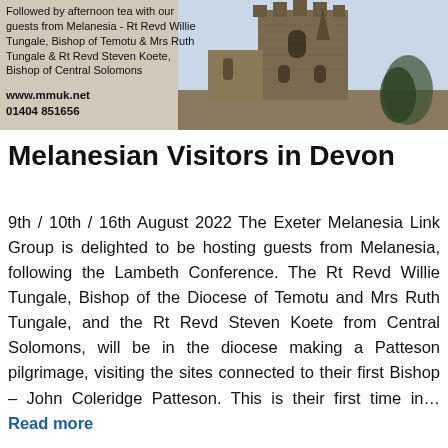[Figure (photo): Top banner area showing a church tower (stone Gothic architecture) on the right side, with text overlay on the left side describing Melanesian guests and contact details including www.mmuk.net and 01404 851656.]
Melanesian Visitors in Devon
9th / 10th / 16th August 2022 The Exeter Melanesia Link Group is delighted to be hosting guests from Melanesia, following the Lambeth Conference. The Rt Revd Willie Tungale, Bishop of the Diocese of Temotu and Mrs Ruth Tungale, and the Rt Revd Steven Koete from Central Solomons, will be in the diocese making a Patteson pilgrimage, visiting the sites connected to their first Bishop – John Coleridge Patteson. This is their first time in… Read more